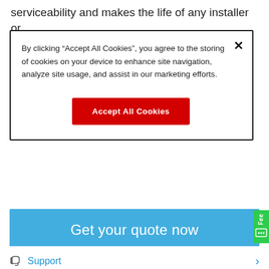serviceability and makes the life of any installer or...
By clicking "Accept All Cookies", you agree to the storing of cookies on your device to enhance site navigation, analyze site usage, and assist in our marketing efforts.
Accept All Cookies
Get your quote now
Support
Download spec sheet